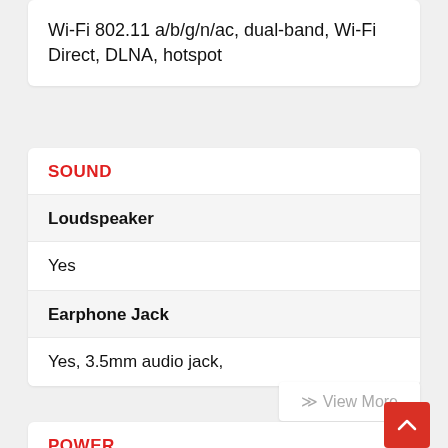Wi-Fi 802.11 a/b/g/n/ac, dual-band, Wi-Fi Direct, DLNA, hotspot
SOUND
Loudspeaker
Yes
Earphone Jack
Yes, 3.5mm audio jack,
⋎ View More
POWER
Battery
Non-removable Li-Po 5000 mAh